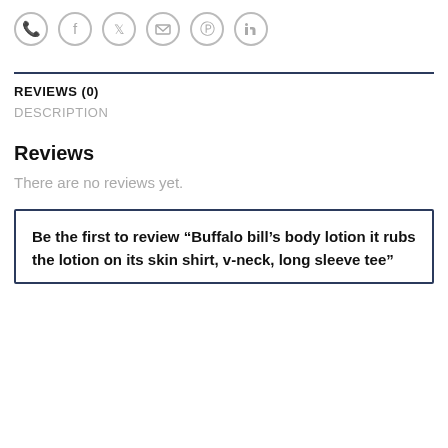[Figure (other): Social share icons: WhatsApp, Facebook, Twitter, Email, Pinterest, LinkedIn — all circular with gray border]
REVIEWS (0)
DESCRIPTION
Reviews
There are no reviews yet.
Be the first to review “Buffalo bill’s body lotion it rubs the lotion on its skin shirt, v-neck, long sleeve tee”